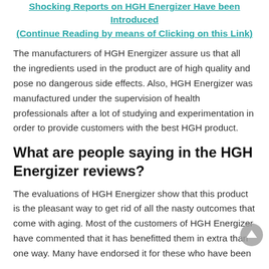Shocking Reports on HGH Energizer Have been Introduced (Continue Reading by means of Clicking on this Link)
The manufacturers of HGH Energizer assure us that all the ingredients used in the product are of high quality and pose no dangerous side effects. Also, HGH Energizer was manufactured under the supervision of health professionals after a lot of studying and experimentation in order to provide customers with the best HGH product.
What are people saying in the HGH Energizer reviews?
The evaluations of HGH Energizer show that this product is the pleasant way to get rid of all the nasty outcomes that come with aging. Most of the customers of HGH Energizer have commented that it has benefitted them in extra than one way. Many have endorsed it for these who have been